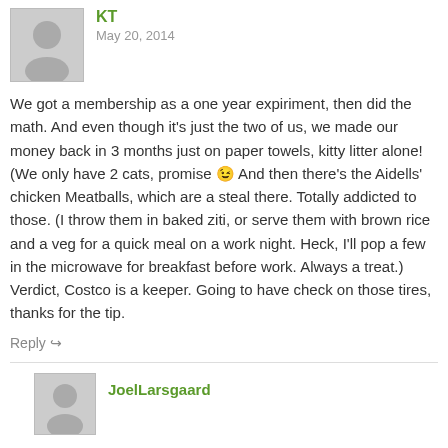[Figure (illustration): Generic user avatar silhouette in gray]
KT
May 20, 2014
We got a membership as a one year expiriment, then did the math. And even though it's just the two of us, we made our money back in 3 months just on paper towels, kitty litter alone! (We only have 2 cats, promise 😉 And then there's the Aidells' chicken Meatballs, which are a steal there. Totally addicted to those. (I throw them in baked ziti, or serve them with brown rice and a veg for a quick meal on a work night. Heck, I'll pop a few in the microwave for breakfast before work. Always a treat.) Verdict, Costco is a keeper. Going to have check on those tires, thanks for the tip.
Reply ↪
[Figure (illustration): Generic user avatar silhouette in gray (smaller, second commenter)]
JoelLarsgaard